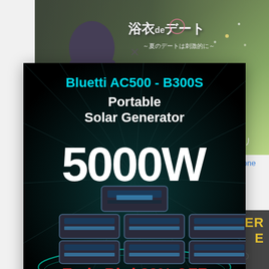[Figure (photo): Japanese woman in floral yukata (浴衣) against blurred outdoor background with Japanese text: 浴衣deデート ～夏のデートは刺激的に～ and name 星崎アンリ]
Carib... done is do...
[Figure (infographic): Bluetti AC500 - B300S advertisement: Portable Solar Generator, 5000W, Early Bird 32% OFF, Save Now button. Black background with starburst ray lines and product images of battery units.]